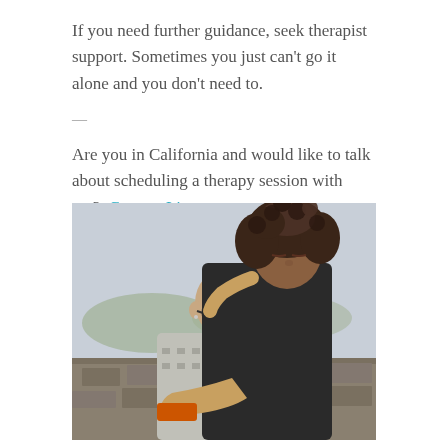If you need further guidance, seek therapist support. Sometimes you just can't go it alone and you don't need to.
—
Are you in California and would like to talk about scheduling a therapy session with me?  Contact Lisa.
[Figure (photo): A couple embracing outdoors. A woman with curly hair rests her head on the back of a bald man wearing glasses and a patterned sweater, with a stone wall and landscape visible in the background.]